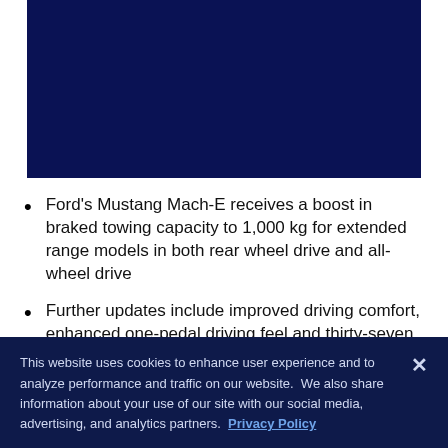[Figure (photo): Dark navy blue image area, likely a car photo placeholder or video thumbnail for the Ford Mustang Mach-E article.]
Ford's Mustang Mach-E receives a boost in braked towing capacity to 1,000 kg for extended range models in both rear wheel drive and all-wheel drive
Further updates include improved driving comfort, enhanced one-pedal driving feel and thirty-seven
This website uses cookies to enhance user experience and to analyze performance and traffic on our website. We also share information about your use of our site with our social media, advertising, and analytics partners. Privacy Policy